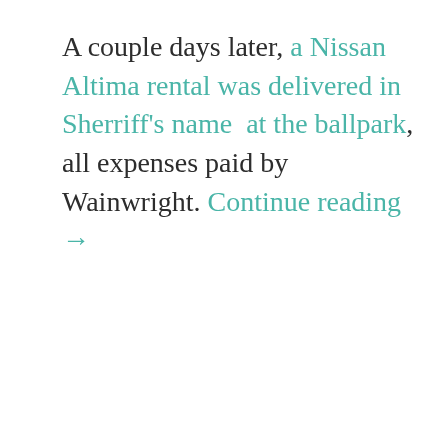A couple days later, a Nissan Altima rental was delivered in Sherriff's name at the ballpark, all expenses paid by Wainwright. Continue reading →
Share this:
[Figure (screenshot): Social sharing buttons: Twitter, LinkedIn, Facebook, Reddit, Print, Email]